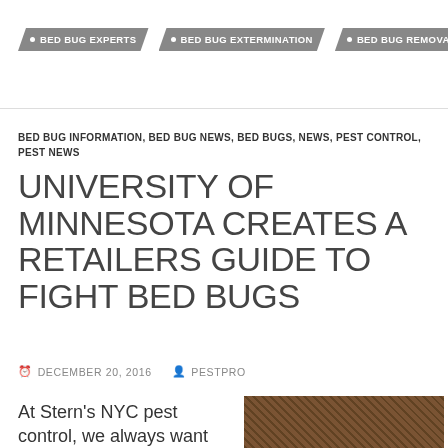BED BUG EXPERTS | BED BUG EXTERMINATION | BED BUG REMOVAL
BED BUG INFORMATION, BED BUG NEWS, BED BUGS, NEWS, PEST CONTROL, PEST NEWS
UNIVERSITY OF MINNESOTA CREATES A RETAILERS GUIDE TO FIGHT BED BUGS
DECEMBER 20, 2016  PESTPRO
At Stern's NYC pest control, we always want
[Figure (photo): Close-up photo of bed bugs]